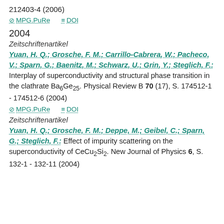212403-4 (2006)
MPG.PuRe   DOI
2004
Zeitschriftenartikel
Yuan, H. Q.; Grosche, F. M.; Carrillo-Cabrera, W.; Pacheco, V.; Sparn, G.; Baenitz, M.; Schwarz, U.; Grin, Y.; Steglich, F.: Interplay of superconductivity and structural phase transition in the clathrate Ba6Ge25. Physical Review B 70 (17), S. 174512-1 - 174512-6 (2004)
MPG.PuRe   DOI
Zeitschriftenartikel
Yuan, H. Q.; Grosche, F. M.; Deppe, M.; Geibel, C.; Sparn, G.; Steglich, F.: Effect of impurity scattering on the superconductivity of CeCu2Si2. New Journal of Physics 6, S. 132-1 - 132-11 (2004)